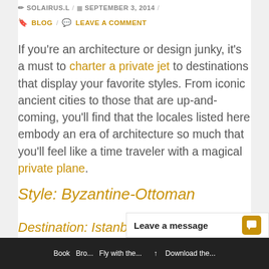✏ SOLAIRUS.L / 📅 SEPTEMBER 3, 2014 / 🔖 BLOG / 💬 LEAVE A COMMENT
If you're an architecture or design junky, it's a must to charter a private jet to destinations that display your favorite styles. From iconic ancient cities to those that are up-and-coming, you'll find that the locales listed here embody an era of architecture so much that you'll feel like a time traveler with a magical private plane.
Style: Byzantine-Ottoman
Destination: Istanbul, Turkey
At the crossroad o...